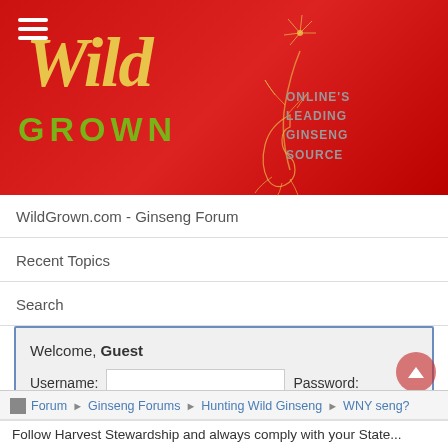[Figure (logo): Wild Grown website header banner with red background, Wild Grown logo in gold/green, ginseng plant illustration, and tagline 'ONLINE'S LEADING GINSENG SOURCE']
WildGrown.com - Ginseng Forum
Recent Topics
Search
Welcome, Guest
Username:
Password:
Remember me
Forgot your password?   Forgot your username?
Forum ▶ Ginseng Forums ▶ Hunting Wild Ginseng ▶ WNY seng?
Follow Harvest Stewardship and always comply with your State...